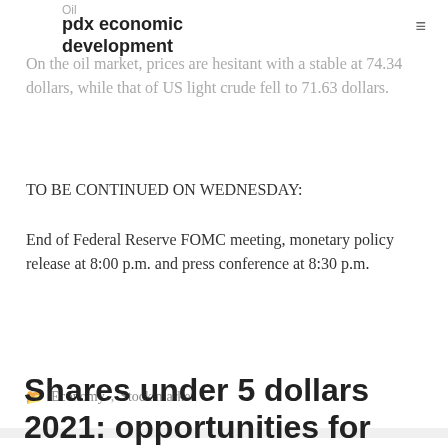pdx economic development
On the oil market, prices are hesitant with a stable at 74.34 dollars, while that of US light crude fell to 71.63 dollars.
TO BE CONTINUED ON WEDNESDAY:
End of Federal Reserve FOMC meeting, monetary policy release at 8:00 p.m. and press conference at 8:30 p.m.
Economy, Stock market
Shares under 5 dollars 2021: opportunities for